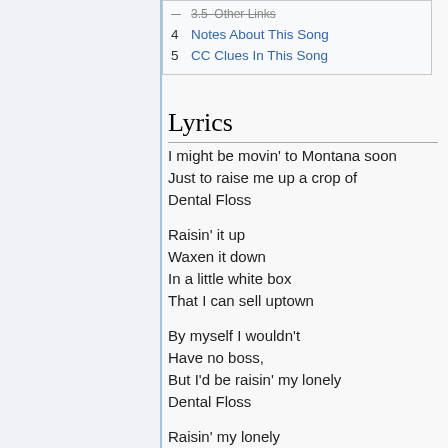3.5 Other Links
4 Notes About This Song
5 CC Clues In This Song
Lyrics
I might be movin' to Montana soon
Just to raise me up a crop of
Dental Floss
Raisin' it up
Waxen it down
In a little white box
That I can sell uptown
By myself I wouldn't
Have no boss,
But I'd be raisin' my lonely
Dental Floss
Raisin' my lonely